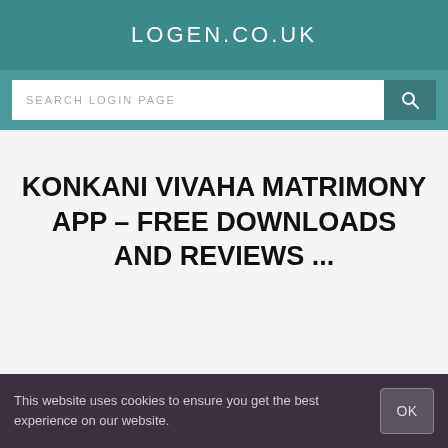LOGEN.CO.UK
KONKANI VIVAHA MATRIMONY APP - FREE DOWNLOADS AND REVIEWS ...
This website uses cookies to ensure you get the best experience on our website.